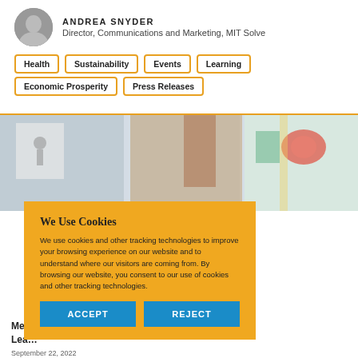ANDREA SNYDER
Director, Communications and Marketing, MIT Solve
Health
Sustainability
Events
Learning
Economic Prosperity
Press Releases
[Figure (photo): Classroom or learning space photo with colorful artwork visible in background]
We Use Cookies
We use cookies and other tracking technologies to improve your browsing experience on our website and to understand where our visitors are coming from. By browsing our website, you consent to our use of cookies and other tracking technologies.
ACCEPT
REJECT
Me… Lea…
September 22, 2022